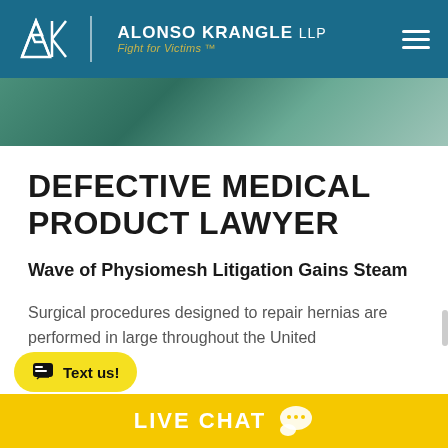[Figure (logo): Alonso Krangle LLP law firm header with AK logo, firm name, tagline 'Fight for Victims™', and hamburger menu on teal/blue background]
[Figure (photo): Partial view of surgical/medical scene with teal/green draping fabric]
DEFECTIVE MEDICAL PRODUCT LAWYER
Wave of Physiomesh Litigation Gains Steam
Surgical procedures designed to repair hernias are performed in large throughout the United
[Figure (other): Yellow 'Text us!' chat button with speech bubble icon]
[Figure (other): Yellow LIVE CHAT bar at bottom with chat bubble icon]